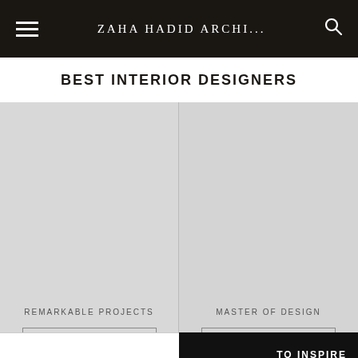ZAHA HADID ARCHI...
BEST INTERIOR DESIGNERS
[Figure (other): Gray placeholder image card on the left with label REMARKABLE PROJECTS and a DOWNLOAD NOW button]
[Figure (other): Gray placeholder image card on the right with label MASTER OF DESIGN and a DOWNLOAD NOW button]
TO INSPIRE
ELEVATING